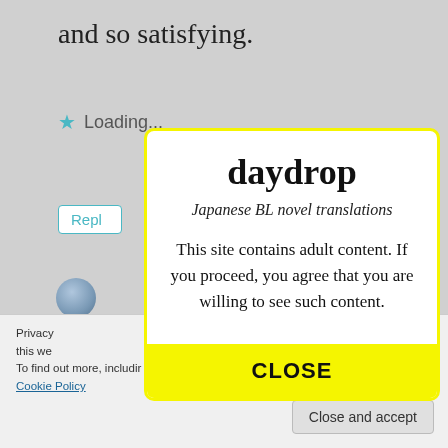and so satisfying.
Loading...
[Figure (screenshot): Website background with reply button, avatar, and cookie policy banner]
daydrop
Japanese BL novel translations
This site contains adult content. If you proceed, you agree that you are willing to see such content.
CLOSE
Privacy ... to use this we... To find out more, includir... trol cookies, see here: Cookie Policy
Close and accept